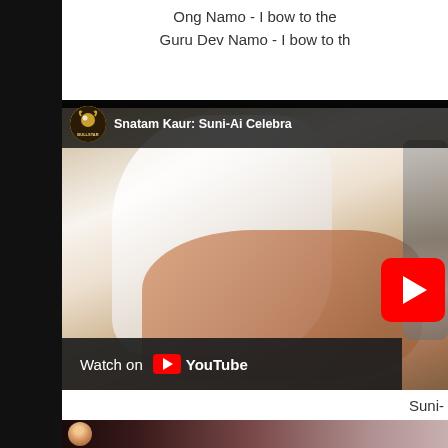Ong Namo - I bow to the
Guru Dev Namo - I bow to th
[Figure (screenshot): YouTube video embed showing Snatam Kaur: Suni-Ai Celebra... with a woman in white clothing holding hands in a meditative gesture, with a YouTube play button overlay and 'Watch on YouTube' bar at the bottom. The channel icon shows BULLSTAR logo.]
Suni-
[Figure (screenshot): Bottom thumbnail strip showing a small circular face/avatar thumbnail at the left edge, with a gradient dark-to-light background.]